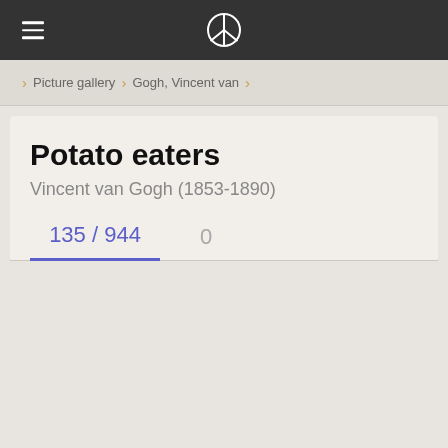≡  [peace symbol]
Picture gallery › Gogh, Vincent van ›
Potato eaters
Vincent van Gogh (1853-1890)
135 / 944    0